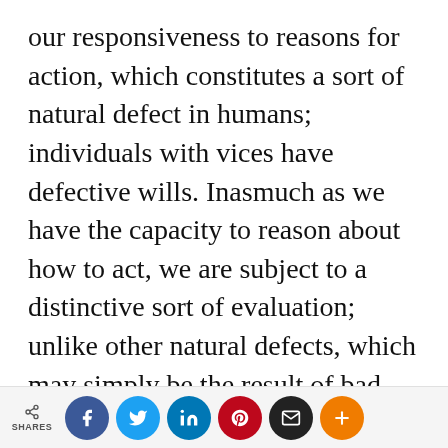our responsiveness to reasons for action, which constitutes a sort of natural defect in humans; individuals with vices have defective wills. Inasmuch as we have the capacity to reason about how to act, we are subject to a distinctive sort of evaluation; unlike other natural defects, which may simply be the result of bad luck, we are responsible for our conception of how to act and can answer to rational criticism of that conception.
Foot thereby anchors morality in human nature. Her claim might be put: there is
SHARES | Facebook | Twitter | LinkedIn | Pinterest | Email | More